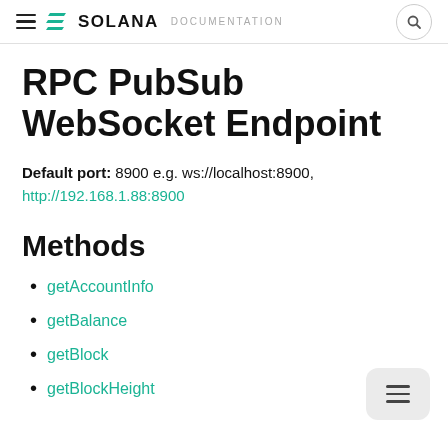SOLANA DOCUMENTATION
RPC PubSub WebSocket Endpoint
Default port: 8900 e.g. ws://localhost:8900, http://192.168.1.88:8900
Methods
getAccountInfo
getBalance
getBlock
getBlockHeight